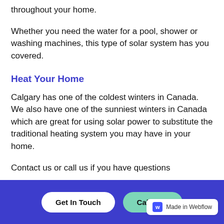throughout your home.
Whether you need the water for a pool, shower or washing machines, this type of solar system has you covered.
Heat Your Home
Calgary has one of the coldest winters in Canada. We also have one of the sunniest winters in Canada which are great for using solar power to substitute the traditional heating system you may have in your home.
Contact us or call us if you have questions
Get In Touch   Call Now   Made in Webflow